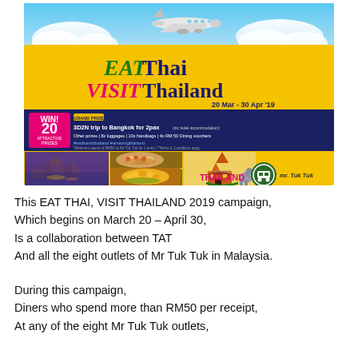[Figure (infographic): EAT Thai VISIT Thailand promotional banner for campaign running 20 Mar - 30 Apr 2019. Features airplane graphic at top, sky background, yellow banner with title text in green/pink/navy colors, navy prize box showing WIN! 20 ATTRACTIVE PRIZES, GRAND PRIZE 3D2N trip to Bangkok for 2pax (inc hotel accommodation), Other prizes: 8x luggages | 10x handbags | 4x RM 50 Dining vouchers, hashtags #eatthaisitthailand #amazingthailand, terms about minimum spend of RM50 at Mr Tuk Tuk for 1 entry. Bottom section shows photos of Bangkok temple, Thai food dishes, and logos for Amazing Thailand and Mr Tuk Tuk.]
This EAT THAI, VISIT THAILAND 2019 campaign,
Which begins on March 20 – April 30,
Is a collaboration between TAT
And all the eight outlets of Mr Tuk Tuk in Malaysia.
During this campaign,
Diners who spend more than RM50 per receipt,
At any of the eight Mr Tuk Tuk outlets,